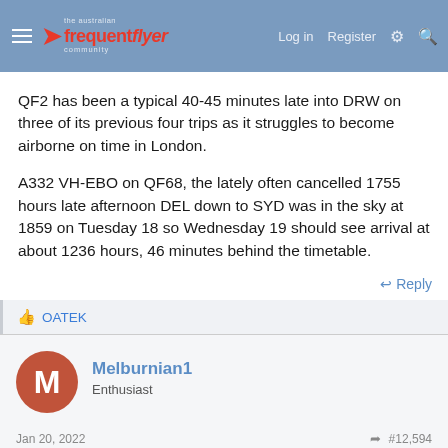Australian Frequent Flyer — Log in  Register
QF2 has been a typical 40-45 minutes late into DRW on three of its previous four trips as it struggles to become airborne on time in London.
A332 VH-EBO on QF68, the lately often cancelled 1755 hours late afternoon DEL down to SYD was in the sky at 1859 on Tuesday 18 so Wednesday 19 should see arrival at about 1236 hours, 46 minutes behind the timetable.
Reply
OATEK
Melburnian1
Enthusiast
Jan 20, 2022    #12,594